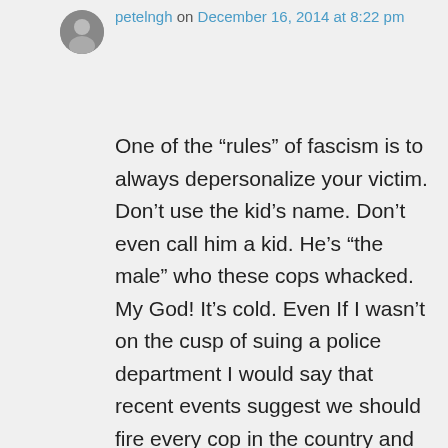petelngh on December 16, 2014 at 8:22 pm
One of the “rules” of fascism is to always depersonalize your victim. Don’t use the kid’s name. Don’t even call him a kid. He’s “the male” who these cops whacked. My God! It’s cold. Even If I wasn’t on the cusp of suing a police department I would say that recent events suggest we should fire every cop in the country and start over from scratch. The saddest part is that, with the inmates firmly in charge of the asylum again, the new batch would be even worse.